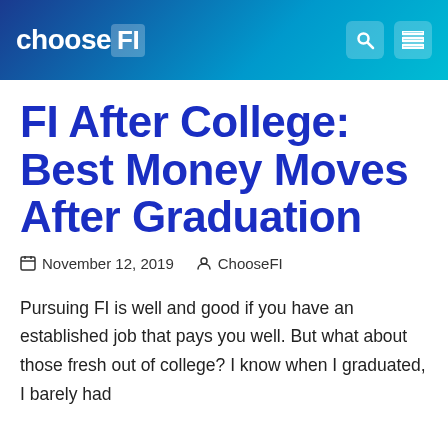chooseFI
FI After College: Best Money Moves After Graduation
November 12, 2019   ChooseFI
Pursuing FI is well and good if you have an established job that pays you well. But what about those fresh out of college? I know when I graduated, I barely had